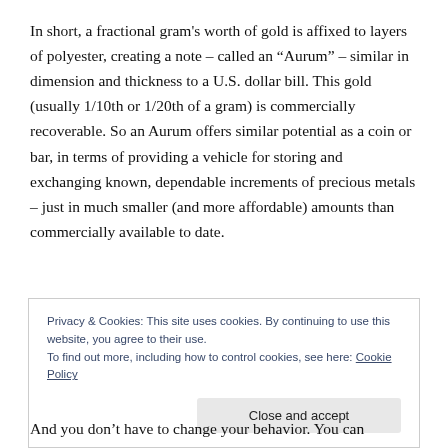In short, a fractional gram's worth of gold is affixed to layers of polyester, creating a note – called an “Aurum” – similar in dimension and thickness to a U.S. dollar bill. This gold (usually 1/10th or 1/20th of a gram) is commercially recoverable. So an Aurum offers similar potential as a coin or bar, in terms of providing a vehicle for storing and exchanging known, dependable increments of precious metals – just in much smaller (and more affordable) amounts than commercially available to date.
Privacy & Cookies: This site uses cookies. By continuing to use this website, you agree to their use. To find out more, including how to control cookies, see here: Cookie Policy
And you don't have to change your behavior. You can